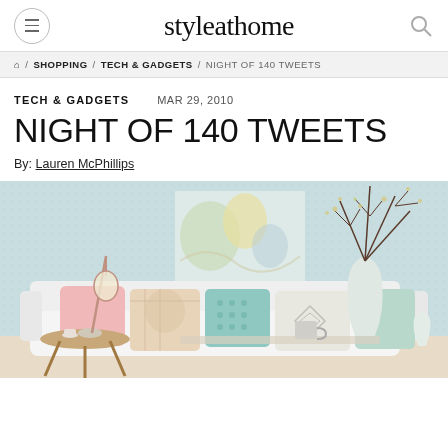styleathome
/ SHOPPING / TECH & GADGETS / NIGHT OF 140 TWEETS
TECH & GADGETS   MAR 29, 2010
NIGHT OF 140 TWEETS
By: Lauren McPhillips
[Figure (photo): A bright, airy living room with a white sofa decorated with pastel pink, teal, and patterned cushions. A round wooden side table with a glass bulb lamp sits to the left. A large vase with bare branches stands on the right. A pastel abstract artwork is on the wall behind. Light blue-green wallpaper texture in background.]